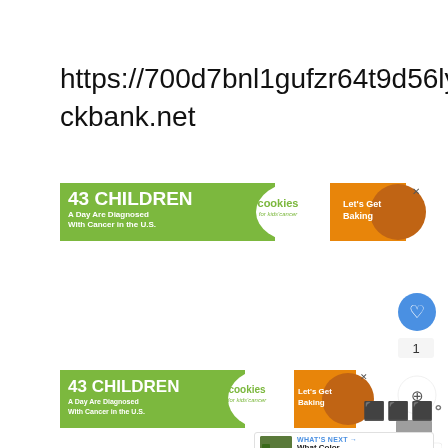https://700d7bnl1gufzr64t9d56ly20p.hop.clickbank.net
[Figure (screenshot): Advertisement banner: '43 CHILDREN A Day Are Diagnosed With Cancer in the U.S.' with Cookies for Kids' Cancer logo and 'Let's Get Baking' call to action on orange background with cookie image]
[Figure (screenshot): UI overlay showing heart/like button (blue circle), count badge showing '1', share button, and 'WHAT'S NEXT' panel with thumbnail and text 'What Color Curtains Wit...']
[Figure (screenshot): Second advertisement banner: '43 CHILDREN A Day Are Diagnosed With Cancer in the U.S.' with Cookies for Kids' Cancer logo and 'Let's Get Baking' call to action]